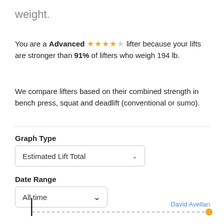weight.
You are a Advanced ★★★★☆ lifter because your lifts are stronger than 91% of lifters who weigh 194 lb.
We compare lifters based on their combined strength in bench press, squat and deadlift (conventional or sumo).
Graph Type
Estimated Lift Total
Date Range
All time
David Avellan
[Figure (continuous-plot): Bottom fragment of a chart showing a vertical bracket line and a dashed horizontal line with a yellow marker on the right end, labeled 'David Avellan'.]